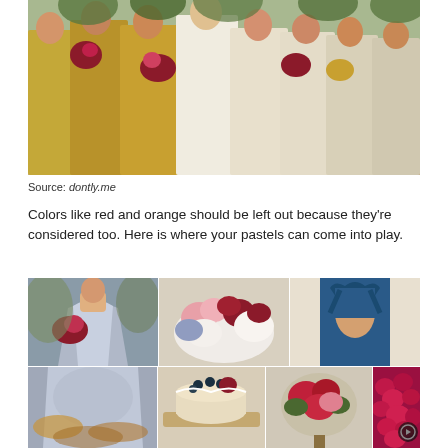[Figure (photo): A group of bridesmaids and bride walking together, wearing gold/silver sequin and white dresses, carrying dark red and pink floral bouquets.]
Source: dontly.me
Colors like red and orange should be left out because they're considered too. Here is where your pastels can come into play.
[Figure (photo): A collage of six wedding-themed photos: a bride in a blue-grey gown holding a dark red bouquet, floral arrangements with pink, red, dark red, and white flowers, a blue halter-back bridesmaid dress, a berry and flower decorated cake, a red and pink bouquet, and gathered deep red/magenta fabric roses.]